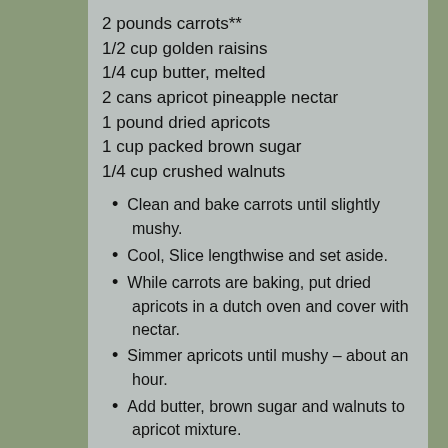2 pounds carrots**
1/2 cup golden raisins
1/4 cup butter, melted
2 cans apricot pineapple nectar
1 pound dried apricots
1 cup packed brown sugar
1/4 cup crushed walnuts
Clean and bake carrots until slightly mushy.
Cool, Slice lengthwise and set aside.
While carrots are baking, put dried apricots in a dutch oven and cover with nectar.
Simmer apricots until mushy – about an hour.
Add butter, brown sugar and walnuts to apricot mixture.
In a 13×9 greased baking dish layer carrots